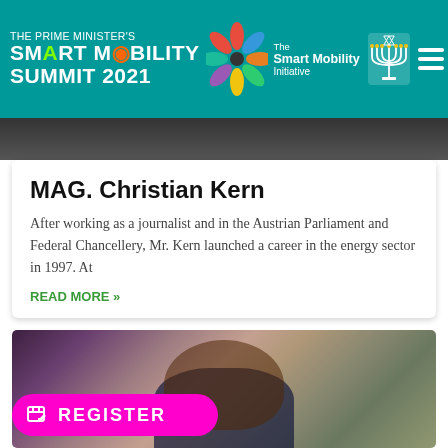THE PRIME MINISTER'S SMART MOBILITY SUMMIT 2021 — The Smart Mobility Initiative
[Figure (photo): Partial top photo strip (dark, cropped)]
MAG. Christian Kern
After working as a journalist and in the Austrian Parliament and Federal Chancellery, Mr. Kern launched a career in the energy sector in 1997. At
READ MORE »
[Figure (photo): Photo of a woman with glasses and long brown hair, smiling, in an office environment with binders and a plant in the background]